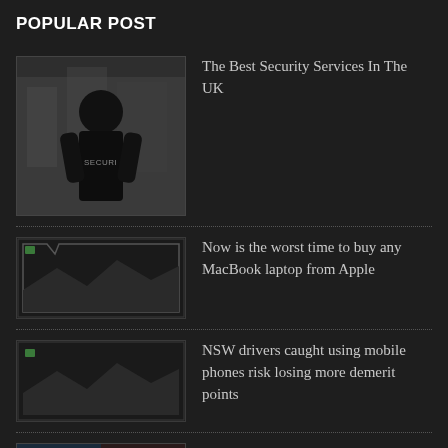POPULAR POST
The Best Security Services In The UK
Now is the worst time to buy any MacBook laptop from Apple
NSW drivers caught using mobile phones risk losing more demerit points
CNET Samsung Galaxy Tab S4 is a $649 2-in-1 Android tablet for multitaskers
Apple emits iPhone cop-block update – plus iOS, macOS, Safari patches